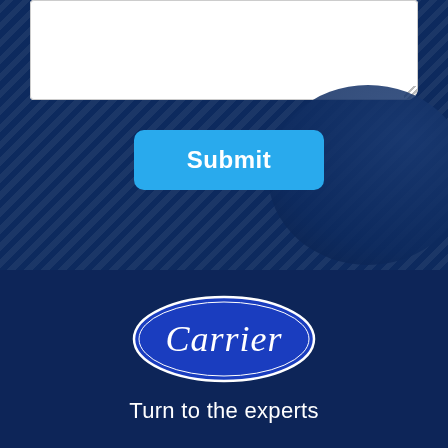[Figure (screenshot): Top portion of a Carrier branded web form or app page showing a white text input box at the top and a light blue 'Submit' button centered below it, all set against a dark navy blue background with diagonal stripe texture and a faint person silhouette on the right.]
[Figure (logo): Carrier logo: a blue oval with white border containing the word 'Carrier' in white italic script font.]
Turn to the experts